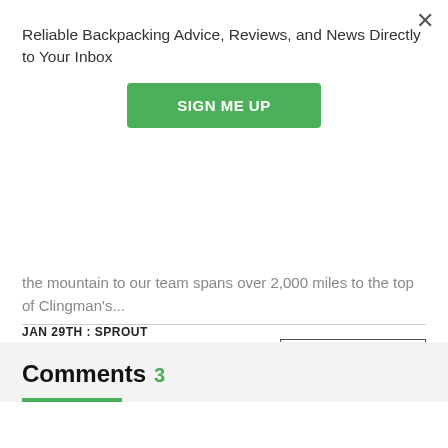Reliable Backpacking Advice, Reviews, and News Directly to Your Inbox
SIGN ME UP
the mountain to our team spans over 2,000 miles to the top of Clingman's...
JAN 29TH : SPROUT
VIEW ALL POSTS
Comments 3